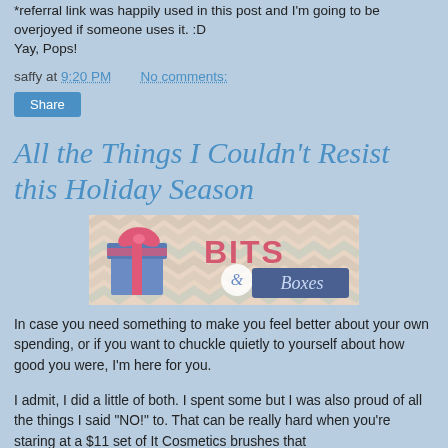*referral link was happily used in this post and I'm going to be overjoyed if someone uses it. :D
Yay, Pops!
saffy at 9:20 PM    No comments:
Share
All the Things I Couldn't Resist this Holiday Season
[Figure (logo): Bits & Boxes logo banner with a blue gift box with pink ribbon on a chevron background]
In case you need something to make you feel better about your own spending, or if you want to chuckle quietly to yourself about how good you were, I'm here for you.
I admit, I did a little of both. I spent some but I was also proud of all the things I said "NO!" to. That can be really hard when you're staring at a $11 set of It Cosmetics brushes that